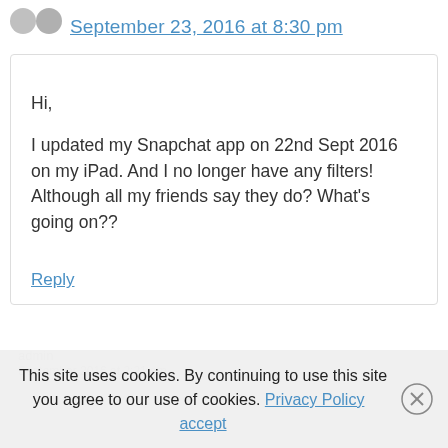September 23, 2016 at 8:30 pm
Hi,

I updated my Snapchat app on 22nd Sept 2016 on my iPad. And I no longer have any filters! Although all my friends say they do? What’s going on??
Reply
This site uses cookies. By continuing to use this site you agree to our use of cookies. Privacy Policy  accept